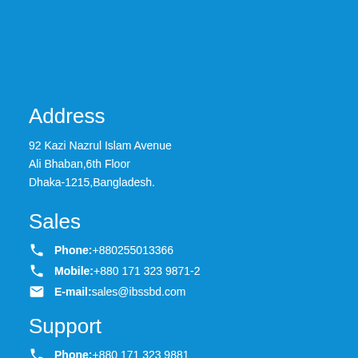Address
92 Kazi Nazrul Islam Avenue
Ali Bhaban,6th Floor
Dhaka-1215,Bangladesh.
Sales
Phone:+880255013366
Mobile:+880 171 323 9871-2
E-mail:sales@ibssbd.com
Support
Phone:+880 171 323 9881